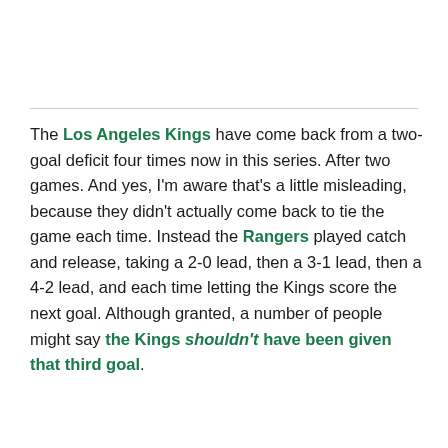The Los Angeles Kings have come back from a two-goal deficit four times now in this series. After two games. And yes, I'm aware that's a little misleading, because they didn't actually come back to tie the game each time. Instead the Rangers played catch and release, taking a 2-0 lead, then a 3-1 lead, then a 4-2 lead, and each time letting the Kings score the next goal. Although granted, a number of people might say the Kings shouldn't have been given that third goal.